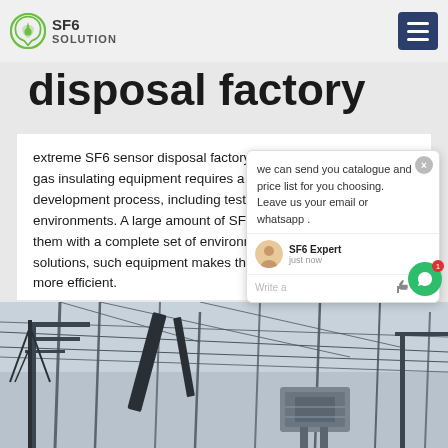SF6 SOLUTION
disposal factory
extreme SF6 sensor disposal factoryThe manufacturer of SF6 gas insulating equipment requires a lot of testing during the development process, including testing in extreme environments. A large amount of SF6 gas is used. We provide them with a complete set of environmentally friendly recycling solutions, such equipment makes their production is safer and more efficient.
[Figure (screenshot): Chat popup with message: we can send you catalogue and price list for you choosing. Leave us your email or whatsapp. SF6 Expert - just now. Write a message input area.]
[Figure (photo): Electrical substation with power lines, transformers and transmission towers against a grey sky.]